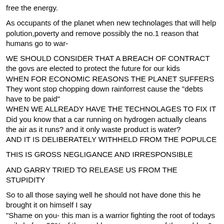free the energy.
As occupants of the planet when new technolages that will help polution,poverty and remove possibly the no.1 reason that humans go to war-
WE SHOULD CONSIDER THAT A BREACH OF CONTRACT
the govs are elected to protect the future for our kids
WHEN FOR ECONOMIC REASONS THE PLANET SUFFERS
They wont stop chopping down rainforrest cause the "debts have to be paid"
WHEN WE ALLREADY HAVE THE TECHNOLAGES TO FIX IT
Did you know that a car running on hydrogen actually cleans the air as it runs? and it only waste product is water?
AND IT IS DELIBERATELY WITHHELD FROM THE POPULCE
THIS IS GROSS NEGLIGANCE AND IRRESPONSIBLE
AND GARRY TRIED TO RELEASE US FROM THE STUPIDITY
So to all those saying well he should not have done this he brought it on himself I say
"Shame on you- this man is a warrior fighting the root of todays evils before 99% of the world was even aware of the problem"
"We need more Garys!" - and thats why they are crucfying him to stop more.
If things go tits up for us all, " lower " forms of life suffer with us where is the logic or justice in that ?
As we are the caretakers of the whole biosphere the responsibility is